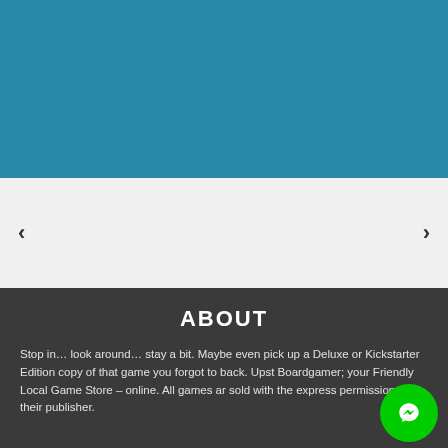[Figure (other): Teal/blue-green banner image placeholder at top of page]
[Figure (other): Carousel navigation section with left and right arrow buttons on light gray background]
ABOUT
Stop in… look around… stay a bit. Maybe even pick up a Deluxe or Kickstarter Edition copy of that game you forgot to back. Upst… Boardgamer; your Friendly Local Game Store – online. All games ar… sold with the express permission of their publisher.